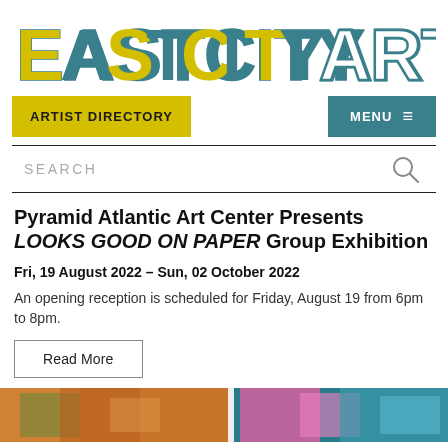[Figure (logo): EastCityArt logo in bold block letters, teal/yellow color scheme with 3D effect]
ARTIST DIRECTORY | MENU
SEARCH
Pyramid Atlantic Art Center Presents LOOKS GOOD ON PAPER Group Exhibition
Fri, 19 August 2022 – Sun, 02 October 2022
An opening reception is scheduled for Friday, August 19 from 6pm to 8pm.
Read More
[Figure (photo): Colorful abstract artwork image strip at the bottom of the page]